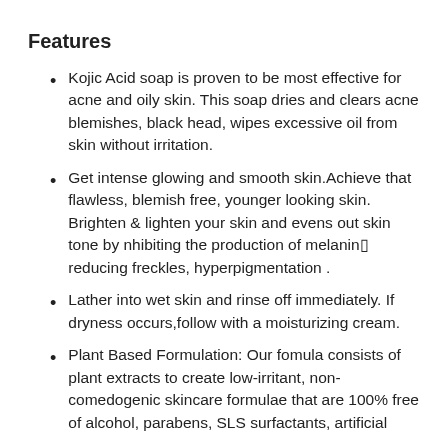Features
Kojic Acid soap is proven to be most effective for acne and oily skin. This soap dries and clears acne blemishes, black head, wipes excessive oil from skin without irritation.
Get intense glowing and smooth skin.Achieve that flawless, blemish free, younger looking skin. Brighten & lighten your skin and evens out skin tone by nhibiting the production of melanin□ reducing freckles, hyperpigmentation .
Lather into wet skin and rinse off immediately. If dryness occurs,follow with a moisturizing cream.
Plant Based Formulation: Our fomula consists of plant extracts to create low-irritant, non-comedogenic skincare formulae that are 100% free of alcohol, parabens, SLS surfactants, artificial